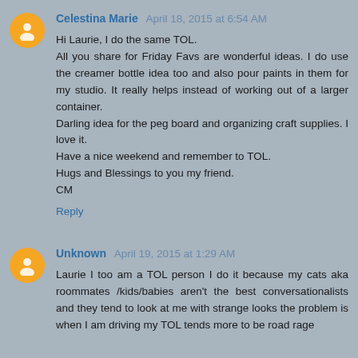Celestina Marie April 18, 2015 at 6:54 AM
Hi Laurie, I do the same TOL.
All you share for Friday Favs are wonderful ideas. I do use the creamer bottle idea too and also pour paints in them for my studio. It really helps instead of working out of a larger container.
Darling idea for the peg board and organizing craft supplies. I love it.
Have a nice weekend and remember to TOL.
Hugs and Blessings to you my friend.
CM
Reply
Unknown April 19, 2015 at 1:29 AM
Laurie I too am a TOL person I do it because my cats aka roommates /kids/babies aren't the best conversationalists and they tend to look at me with strange looks the problem is when I am driving my TOL tends more to be road rage